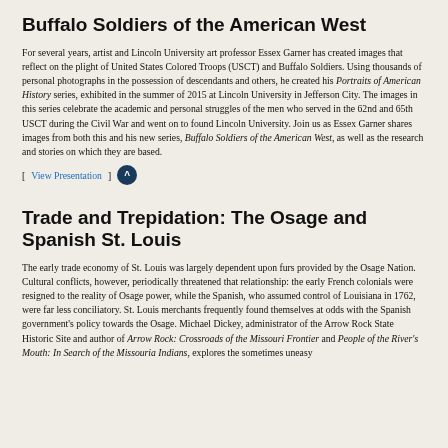Buffalo Soldiers of the American West
For several years, artist and Lincoln University art professor Essex Garner has created images that reflect on the plight of United States Colored Troops (USCT) and Buffalo Soldiers. Using thousands of personal photographs in the possession of descendants and others, he created his Portraits of American History series, exhibited in the summer of 2015 at Lincoln University in Jefferson City. The images in this series celebrate the academic and personal struggles of the men who served in the 62nd and 65th USCT during the Civil War and went on to found Lincoln University. Join us as Essex Garner shares images from both this and his new series, Buffalo Soldiers of the American West, as well as the research and stories on which they are based.
[ View Presentation ]
Trade and Trepidation: The Osage and Spanish St. Louis
The early trade economy of St. Louis was largely dependent upon furs provided by the Osage Nation. Cultural conflicts, however, periodically threatened that relationship: the early French colonials were resigned to the reality of Osage power, while the Spanish, who assumed control of Louisiana in 1762, were far less conciliatory. St. Louis merchants frequently found themselves at odds with the Spanish government's policy towards the Osage. Michael Dickey, administrator of the Arrow Rock State Historic Site and author of Arrow Rock: Crossroads of the Missouri Frontier and People of the River's Mouth: In Search of the Missouria Indians, explores the sometimes uneasy